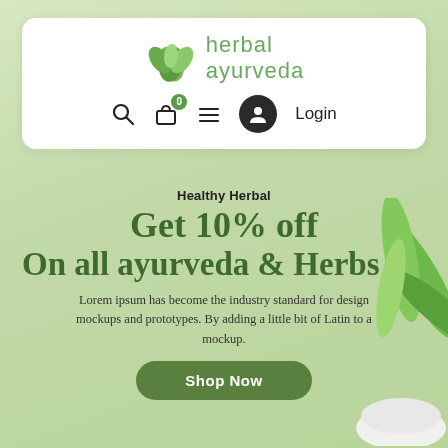[Figure (logo): Herbal Ayurveda logo with green leaf icon and stylized text]
Search | Cart (0) | Menu | Login
Healthy Herbal
Get 10% off
On all ayurveda & Herbs
Lorem ipsum has become the industry standard for design mockups and prototypes. By adding a little bit of Latin to a mockup.
Shop Now